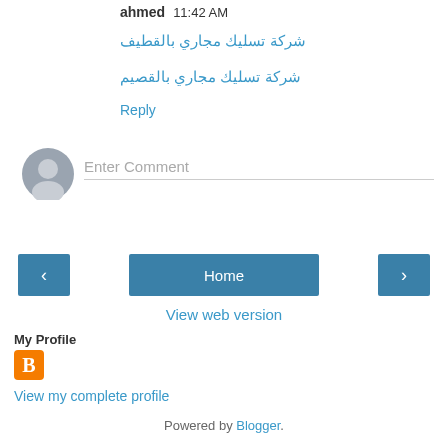ahmed  11:42 AM
شركة تسليك مجاري بالقطيف
شركة تسليك مجاري بالقصيم
Reply
[Figure (illustration): Avatar placeholder icon — grey circular user silhouette]
Enter Comment
‹  Home  ›  (navigation buttons)
View web version
My Profile
[Figure (logo): Blogger orange square icon with B logo]
View my complete profile
Powered by Blogger.